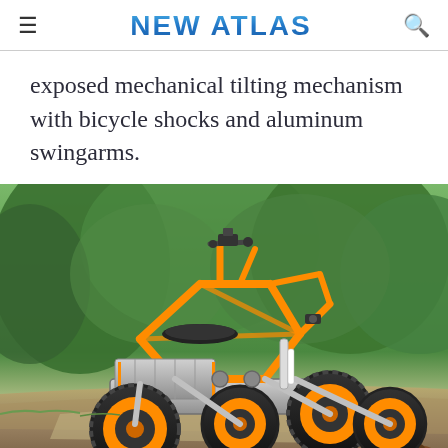NEW ATLAS
exposed mechanical tilting mechanism with bicycle shocks and aluminum swingarms.
[Figure (photo): An orange and silver four-wheeled electric vehicle with exposed mechanical tilting mechanism, bicycle shocks, aluminum swingarms, and a black seat, photographed outdoors on gravel near green trees.]